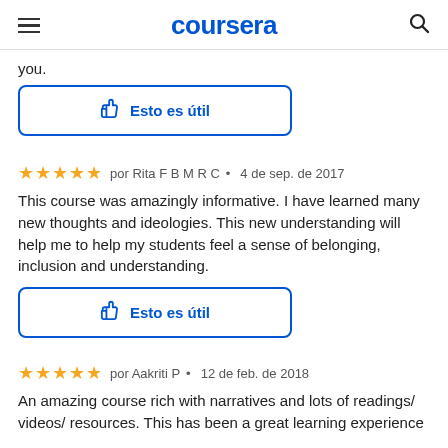coursera
you.
[Figure (other): Thumbs up button labeled 'Esto es útil' with blue border]
★★★★★  por Rita F B M R C  •  4 de sep. de 2017
This course was amazingly informative. I have learned many new thoughts and ideologies. This new understanding will help me to help my students feel a sense of belonging, inclusion and understanding.
[Figure (other): Thumbs up button labeled 'Esto es útil' with blue border]
★★★★★  por Aakriti P  •  12 de feb. de 2018
An amazing course rich with narratives and lots of readings/ videos/ resources. This has been a great learning experience for...